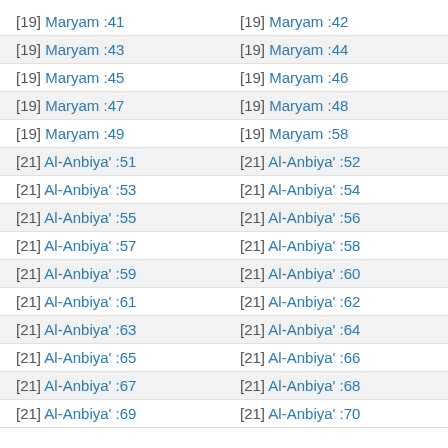[19] Maryam :41   [19] Maryam :42
[19] Maryam :43   [19] Maryam :44
[19] Maryam :45   [19] Maryam :46
[19] Maryam :47   [19] Maryam :48
[19] Maryam :49   [19] Maryam :58
[21] Al-Anbiya' :51   [21] Al-Anbiya' :52
[21] Al-Anbiya' :53   [21] Al-Anbiya' :54
[21] Al-Anbiya' :55   [21] Al-Anbiya' :56
[21] Al-Anbiya' :57   [21] Al-Anbiya' :58
[21] Al-Anbiya' :59   [21] Al-Anbiya' :60
[21] Al-Anbiya' :61   [21] Al-Anbiya' :62
[21] Al-Anbiya' :63   [21] Al-Anbiya' :64
[21] Al-Anbiya' :65   [21] Al-Anbiya' :66
[21] Al-Anbiya' :67   [21] Al-Anbiya' :68
[21] Al-Anbiya' :69   [21] Al-Anbiya' :70